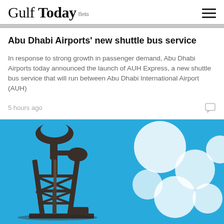Gulf Today Beta
Abu Dhabi Airports' new shuttle bus service
In response to strong growth in passenger demand, Abu Dhabi Airports today announced the launch of AUH Express, a new shuttle bus service that will run between Abu Dhabi International Airport (AUH)
5 hours ago
[Figure (photo): An oil pump jack silhouetted in dark against a bright blue background with blurred OPEC logo circles (white circles forming the OPEC logo) visible in the background right side.]